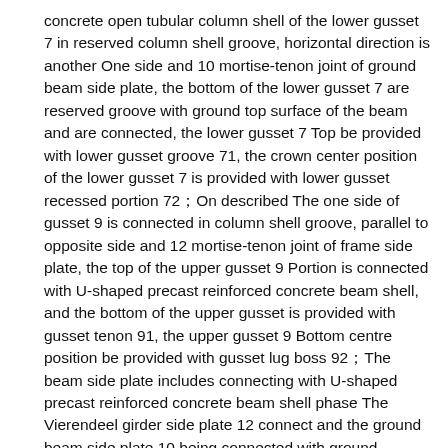concrete open tubular column shell of the lower gusset 7 in reserved column shell groove, horizontal direction is another One side and 10 mortise-tenon joint of ground beam side plate, the bottom of the lower gusset 7 are reserved groove with ground top surface of the beam and are connected, the lower gusset 7 Top be provided with lower gusset groove 71, the crown center position of the lower gusset 7 is provided with lower gusset recessed portion 72；On described The one side of gusset 9 is connected in column shell groove, parallel to opposite side and 12 mortise-tenon joint of frame side plate, the top of the upper gusset 9 Portion is connected with U-shaped precast reinforced concrete beam shell, and the bottom of the upper gusset is provided with gusset tenon 91, the upper gusset 9 Bottom centre position be provided with gusset lug boss 92；The beam side plate includes connecting with U-shaped precast reinforced concrete beam shell phase The Vierendeel girder side plate 12 connect and the ground beam side plate 10 being connected with ground beam；The top of the Vierendeel girder side plate 12 and U-shaped pre-manufactured steel Concrete Beam Reinforced shell phase connects, and the side of the Vierendeel girder side plate 12 connects